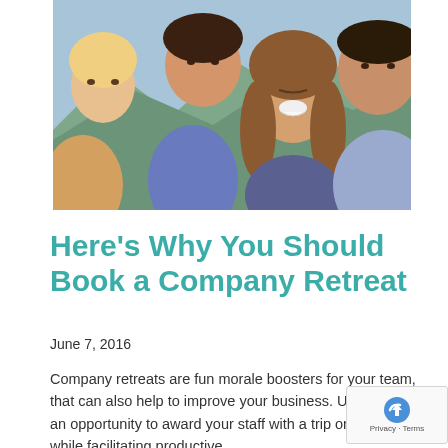[Figure (photo): Group photo of four smiling young adults (two men and two women) outdoors, laughing and leaning together. Mountains visible in background.]
Here's Why You Should Book a Company Retreat
June 7, 2016
Company retreats are fun morale boosters for your team, that can also help to improve your business. Use them as an opportunity to award your staff with a trip or a meal, while facilitating productive...